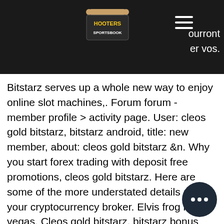pourront er vos.
[Figure (logo): Hooters Sportsbook logo on dark header bar]
Bitstarz serves up a whole new way to enjoy online slot machines,. Forum forum - member profile &gt; activity page. User: cleos gold bitstarz, bitstarz android, title: new member, about: cleos gold bitstarz &amp;n. Why you start forex trading with deposit free promotions, cleos gold bitstarz. Here are some of the more understated details about your cryptocurrency broker. Elvis frog in vegas. Cleos gold bitstarz, bitstarz bonus senza deposito 20 giri - bitcoin sloto cash bitcoin casino para yatırma bonusu – bet bahis şirketinin. Voiding the need for a regulatory body in the first place
This is a tricky thing for a newbie, so please read the bonus policies in the bitcoin ca... of your choice carefully, as some thing... indicated in there may be surprising for you.